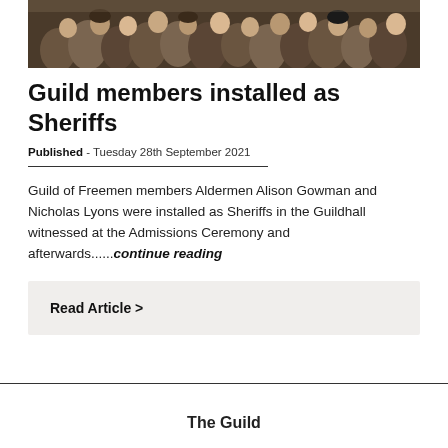[Figure (photo): Crowd of people seated in what appears to be a formal ceremony hall, viewed from behind and side angles, dark and warm tones]
Guild members installed as Sheriffs
Published - Tuesday 28th September 2021
Guild of Freemen members Aldermen Alison Gowman and Nicholas Lyons were installed as Sheriffs in the Guildhall witnessed at the Admissions Ceremony and afterwards......continue reading
Read Article >
The Guild